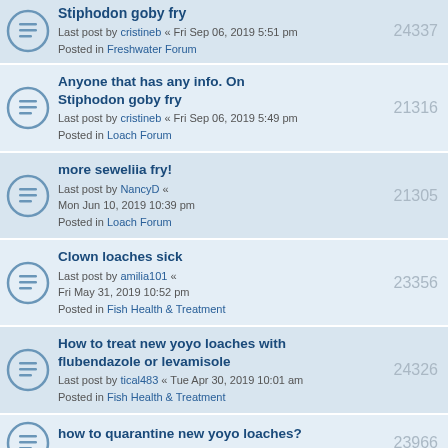Stiphodon goby fry — Last post by cristineb « Fri Sep 06, 2019 5:51 pm — Posted in Freshwater Forum — 24337
Anyone that has any info. On Stiphodon goby fry — Last post by cristineb « Fri Sep 06, 2019 5:49 pm — Posted in Loach Forum — 21316
more seweliia fry! — Last post by NancyD « Mon Jun 10, 2019 10:39 pm — Posted in Loach Forum — 21305
Clown loaches sick — Last post by amilia101 « Fri May 31, 2019 10:52 pm — Posted in Fish Health & Treatment — 23356
How to treat new yoyo loaches with flubendazole or levamisole — Last post by tical483 « Tue Apr 30, 2019 10:01 am — Posted in Fish Health & Treatment — 24326
how to quarantine new yoyo loaches? — Last post by tical483 « Tue Apr 23, 2019 7:55 am — 23966